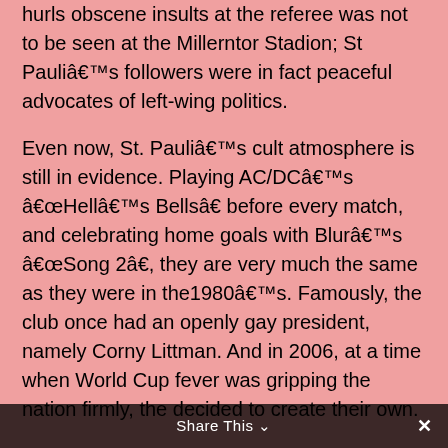hurls obscene insults at the referee was not to be seen at the Millerntor Stadion; St Pauliâ€™s followers were in fact peaceful advocates of left-wing politics.
Even now, St. Pauliâ€™s cult atmosphere is still in evidence. Playing AC/DCâ€™s â€œHellâ€™s Bellsâ€ before every match, and celebrating home goals with Blurâ€™s â€œSong 2â€, they are very much the same as they were in the1980â€™s. Famously, the club once had an openly gay president, namely Corny Littman. And in 2006, at a time when World Cup fever was gripping the nation firmly, the decided to create their own.
The FIFI Wild Cup was a concept made up entirely by FC St. Pauli, featuring unrecognised sides such as Tibet, Greenland, Zanzibar, Northern Cyprus, Gibraltar (now part of UEFA) and the rather dubiously titled Republic of Saint Pauliâ€¦
Share This ×